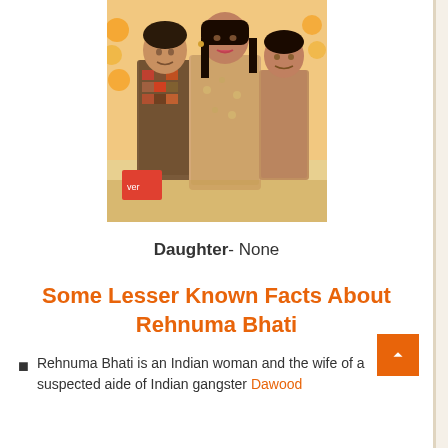[Figure (photo): A woman in a yellow/green floral outfit standing with two children in traditional South Asian clothing, taken at what appears to be a festive occasion with marigold decorations in the background.]
Daughter- None
Some Lesser Known Facts About Rehnuma Bhati
Rehnuma Bhati is an Indian woman and the wife of a suspected aide of Indian gangster Dawood